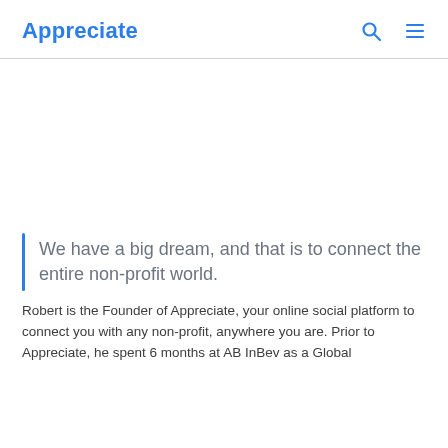Appreciate
[Figure (illustration): Large white/blank image area below the navigation header — likely a profile photo placeholder or hero image area]
We have a big dream, and that is to connect the entire non-profit world.
Robert is the Founder of Appreciate, your online social platform to connect you with any non-profit, anywhere you are. Prior to Appreciate, he spent 6 months at AB InBev as a Global